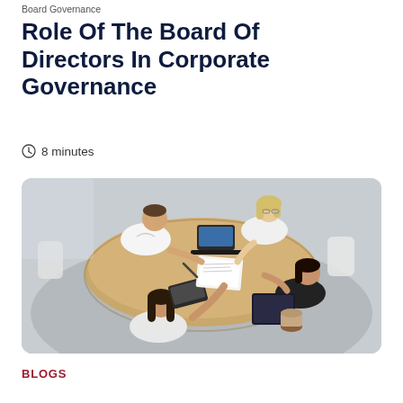Board Governance
Role Of The Board Of Directors In Corporate Governance
8 minutes
[Figure (photo): Overhead view of four business professionals sitting around a conference table with laptops, documents, and a coffee cup, engaged in a board meeting discussion.]
BLOGS